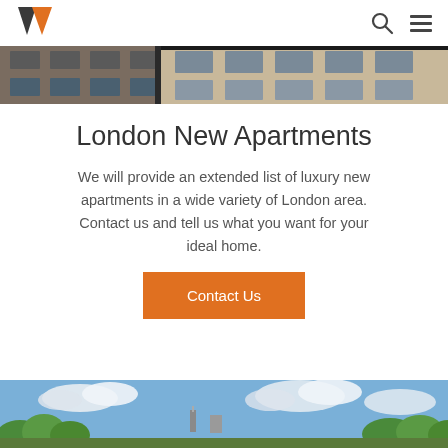[Figure (logo): Orange and dark grey downward-pointing triangle/arrow logo]
[Figure (other): Search and hamburger menu navigation icons]
[Figure (photo): Top hero photo of modern London apartment building exterior with balconies and glass windows]
London New Apartments
We will provide an extended list of luxury new apartments in a wide variety of London area. Contact us and tell us what you want for your ideal home.
[Figure (other): Orange 'Contact Us' button]
[Figure (photo): Bottom hero photo of green parkland with trees and blue sky with clouds, London cityscape in background]